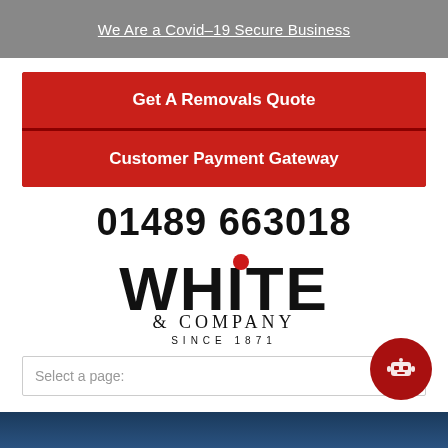We Are a Covid–19 Secure Business
Get A Removals Quote
Customer Payment Gateway
01489 663018
[Figure (logo): White & Company Since 1871 logo — bold black text 'WHITE' with a red dot over the i, '& COMPANY' below, 'SINCE 1871' at the bottom]
Select a page: